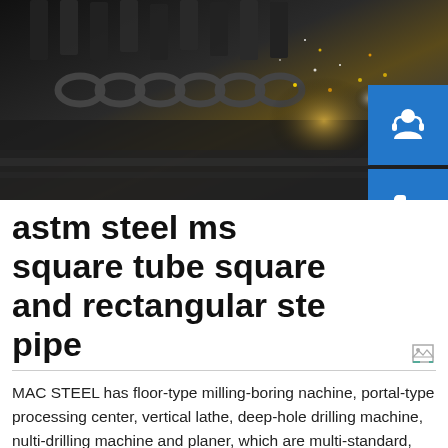[Figure (photo): Industrial metal fabrication photo showing gears, chains and sparks in dark tones with orange/gold light reflections]
astm steel ms square tube square and rectangular steel pipe
MAC STEEL has floor-type milling-boring nachine, portal-type processing center, vertical lathe, deep-hole drilling machine, nulti-drilling machine and planer, which are multi-standard, high-precision and multi-function. MAC STEEL has a wealth of machining experience and